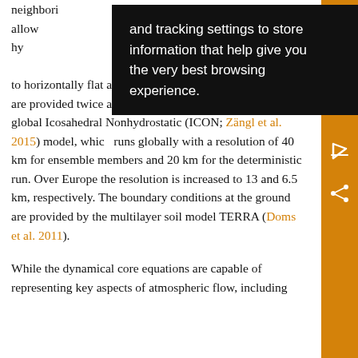neighboring ... is 2.8 km, allow ... lly. The 50 hy ... ce to height of ... terrain following at the bottom to horizontally flat at the top. Lateral boundary conditions are provided twice a day by the prediction system of the global Icosahedral Nonhydrostatic (ICON; Zängl et al. 2015) model, which runs globally with a resolution of 40 km for ensemble members and 20 km for the deterministic run. Over Europe the resolution is increased to 13 and 6.5 km, respectively. The boundary conditions at the ground are provided by the multilayer soil model TERRA (Doms et al. 2011).
While the dynamical core equations are capable of representing key aspects of atmospheric flow, including